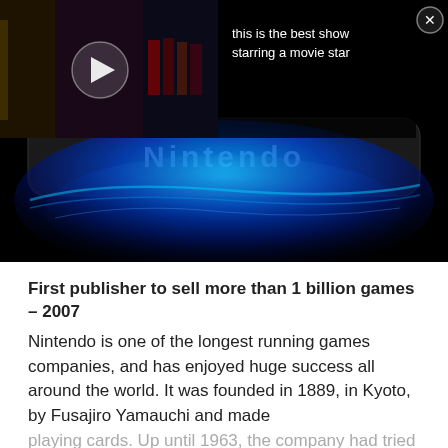[Figure (screenshot): Video player overlay showing a dark movie/TV scene with a play button, overlaid ad banner reading 'this is the best show starring a movie star' with a close button, below which is a Nintendo Switch device render with glowing blue light effects]
First publisher to sell more than 1 billion games – 2007
Nintendo is one of the longest running games companies, and has enjoyed huge success all around the world. It was founded in 1889, in Kyoto, by Fusajiro Yamauchi and made playing cards. Up until 1963, the company had tried various exploits including a taxi company, a food chain, a